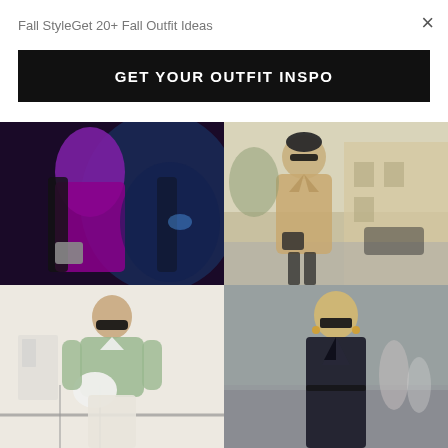Fall StyleGet 20+ Fall Outfit Ideas
×
GET YOUR OUTFIT INSPO
[Figure (photo): Street style photo of a woman wearing a purple/magenta monochrome outfit with black cardigan and carrying a grey bag, with a blue car in the background]
[Figure (photo): Street style photo of a woman wearing a beige trench coat over a white top with a black beret and round black sunglasses, carrying a dark shoulder bag, on a street with buildings]
[Figure (photo): Street style photo of a woman wearing a sage green oversized sweater over a white collared shirt, with dark oversized sunglasses, holding a white fluffy bag, standing near a white building]
[Figure (photo): Street style photo of a blonde woman wearing a dark navy/black deep-V blazer dress with a wrap front, wearing large square sunglasses and gold earrings, on a street with blurred figures in background]